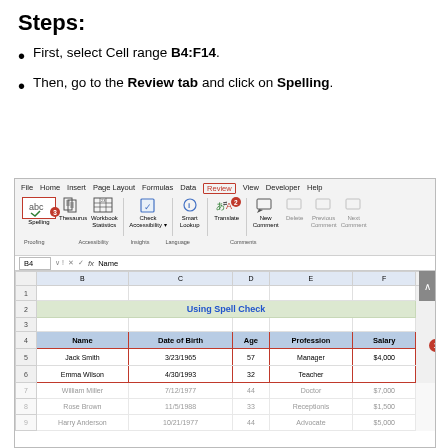Steps:
First, select Cell range B4:F14.
Then, go to the Review tab and click on Spelling.
[Figure (screenshot): Excel ribbon showing the Review tab highlighted, Spelling button highlighted with badge 3, Translate button with badge 2. Formula bar shows B4 with value 'Name'. Spreadsheet shows 'Using Spell Check' title and a table with columns Name, Date of Birth, Age, Profession, Salary. Rows visible: Jack Smith 3/23/1965 57 Manager $4,000; Emma Wilson 4/30/1993 32 Teacher; plus faded rows for William Miller, Rose Brown, Harry Anderson.]